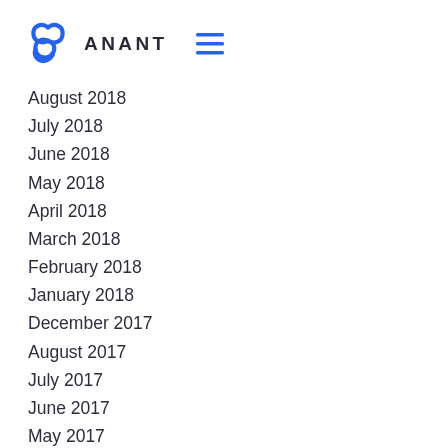ANANT
August 2018
July 2018
June 2018
May 2018
April 2018
March 2018
February 2018
January 2018
December 2017
August 2017
July 2017
June 2017
May 2017
April 2017
March 2017
February 2017
December 2016
November 2016